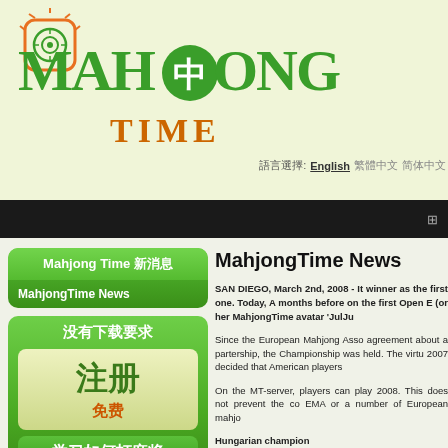[Figure (logo): Mahjong Time logo with green text and orange TIME subtitle, mahjong tile icon]
語言選擇: English 繁體中文 简体中文
Mahjong Time 新消息
MahjongTime News
没有下载要求
注册 免费
学习如何打麻将
MahjongTime News
SAN DIEGO, March 2nd, 2008 - It winner as the first one. Today, A months before on the first Open E (or her MahjongTime avatar 'JulJu
Since the European Mahjong Asso agreement about a partership, the Championship was held. The virtu 2007 decided that American players
On the MT-server, players can play 2008. This does not prevent the co EMA or a number of European mahjo
Hungarian champion